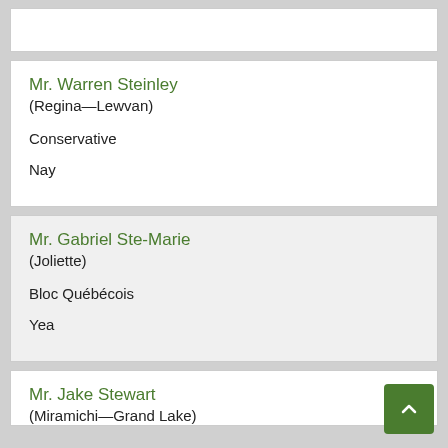Mr. Warren Steinley
(Regina—Lewvan)
Conservative
Nay
Mr. Gabriel Ste-Marie
(Joliette)
Bloc Québécois
Yea
Mr. Jake Stewart
(Miramichi—Grand Lake)